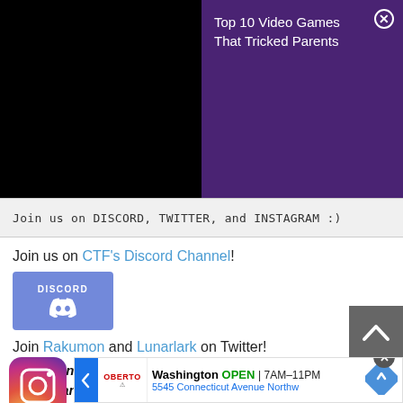[Figure (screenshot): Purple notification banner with text 'Top 10 Video Games That Tricked Parents' on dark purple background with X close button, overlaid on black area]
Join us on DISCORD, TWITTER, and INSTAGRAM :)
Join us on CTF's Discord Channel!
[Figure (logo): Discord badge with DISCORD text and Discord logo on purple background]
Join Rakumon and Lunarlark on Twitter!
Rakumon will be posting stuff about Chinese culture and Chinese novels on Twitter and Instagram, so don't miss out! XD
Check out Rakumon's Instagram here!
[Figure (logo): Instagram logo icon (gradient pink/orange/purple rounded square)]
[Figure (screenshot): Ad banner for Oberto Washington location showing OPEN 7AM-11PM, 5545 Connecticut Avenue Northw]